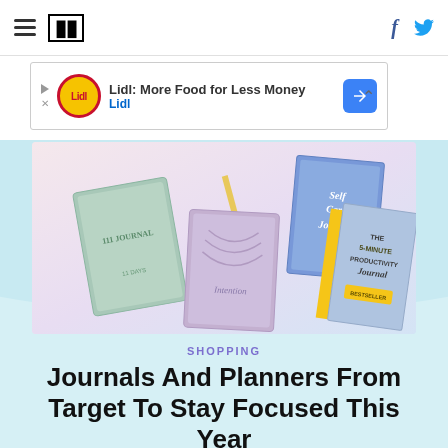HuffPost navigation with hamburger menu, logo, Facebook and Twitter icons
[Figure (other): Advertisement banner: Lidl: More Food for Less Money - Lidl]
[Figure (photo): Photo of journals and planners laid out flat: a green journal, a blue Self Care Journal, a purple Intention journal, and The 5-Minute Productivity Journal with yellow spine]
SHOPPING
Journals And Planners From Target To Stay Focused This Year